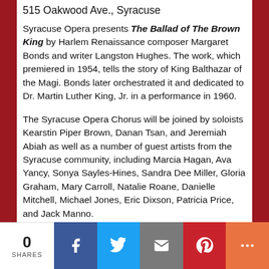515 Oakwood Ave., Syracuse
Syracuse Opera presents The Ballad of The Brown King by Harlem Renaissance composer Margaret Bonds and writer Langston Hughes. The work, which premiered in 1954, tells the story of King Balthazar of the Magi. Bonds later orchestrated it and dedicated to Dr. Martin Luther King, Jr. in a performance in 1960.
The Syracuse Opera Chorus will be joined by soloists Kearstin Piper Brown, Danan Tsan, and Jeremiah Abiah as well as a number of guest artists from the Syracuse community, including Marcia Hagan, Ava Yancy, Sonya Sayles-Hines, Sandra Dee Miller, Gloria Graham, Mary Carroll, Natalie Roane, Danielle Mitchell, Michael Jones, Eric Dixson, Patricia Price, and Jack Manno.
Parking is available at the church. Run time is
0 SHARES  [Facebook] [Twitter] [Email] [Pinterest] [More]